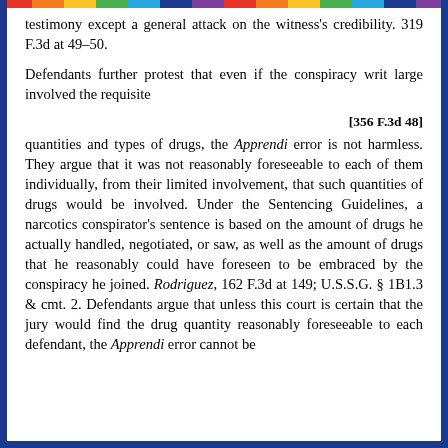testimony except a general attack on the witness's credibility. 319 F.3d at 49–50.
Defendants further protest that even if the conspiracy writ large involved the requisite
[356 F.3d 48]
quantities and types of drugs, the Apprendi error is not harmless. They argue that it was not reasonably foreseeable to each of them individually, from their limited involvement, that such quantities of drugs would be involved. Under the Sentencing Guidelines, a narcotics conspirator's sentence is based on the amount of drugs he actually handled, negotiated, or saw, as well as the amount of drugs that he reasonably could have foreseen to be embraced by the conspiracy he joined. Rodriguez, 162 F.3d at 149; U.S.S.G. § 1B1.3 & cmt. 2. Defendants argue that unless this court is certain that the jury would find the drug quantity reasonably foreseeable to each defendant, the Apprendi error cannot be deemed harmless.